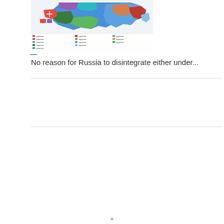[Figure (map): Colorful map of Russia showing different regions/republics with various colors and a legend below]
No reason for Russia to disintegrate either under...